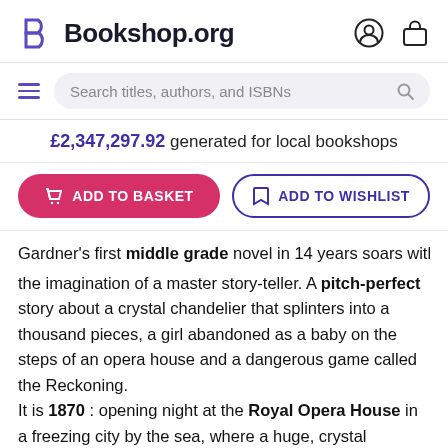Bookshop.org
Search titles, authors, and ISBNs
£2,347,297.92 generated for local bookshops
ADD TO BASKET
ADD TO WISHLIST
Gardner's first middle grade novel in 14 years soars with the imagination of a master story-teller. A pitch-perfect story about a crystal chandelier that splinters into a thousand pieces, a girl abandoned as a baby on the steps of an opera house and a dangerous game called the Reckoning. It is 1870 : opening night at the Royal Opera House in a freezing city by the sea, where a huge, crystal chandelier in the shape of a galleon sparkles magically with the light of 750 candles.